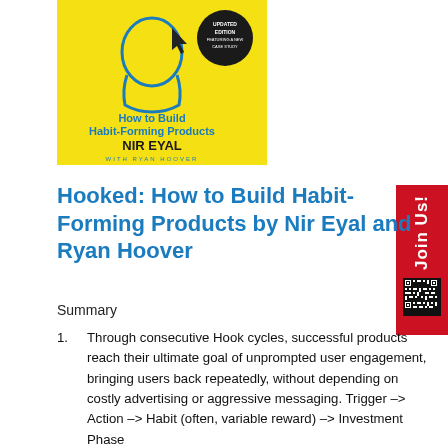[Figure (photo): Book cover of Hooked: How to Build Habit-Forming Products by Nir Eyal with Ryan Hoover. Yellow cover with a silhouette of a person's head and a cursor arrow. Updated Edition featuring a new case study badge visible.]
Hooked: How to Build Habit-Forming Products by Nir Eyal and Ryan Hoover
Summary
Through consecutive Hook cycles, successful products reach their ultimate goal of unprompted user engagement, bringing users back repeatedly, without depending on costly advertising or aggressive messaging. Trigger –> Action –> Habit (often, variable reward) –> Investment Phase